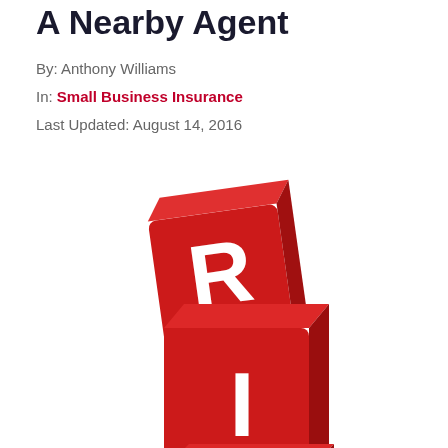A Nearby Agent
By: Anthony Williams
In: Small Business Insurance
Last Updated: August 14, 2016
[Figure (illustration): Three stacked red 3D cube blocks with white letters R, I, S spelling RISK, partially visible from top to bottom]